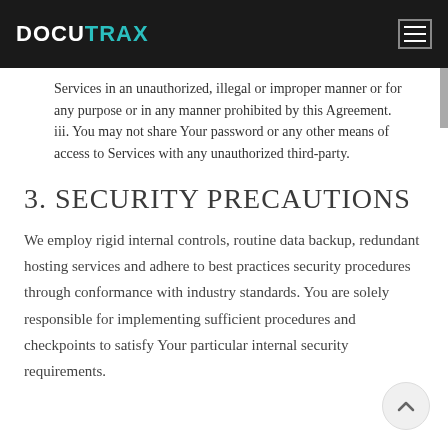DOCUTRAX
Services in an unauthorized, illegal or improper manner or for any purpose or in any manner prohibited by this Agreement.
iii. You may not share Your password or any other means of access to Services with any unauthorized third-party.
3. SECURITY PRECAUTIONS
We employ rigid internal controls, routine data backup, redundant hosting services and adhere to best practices security procedures through conformance with industry standards. You are solely responsible for implementing sufficient procedures and checkpoints to satisfy Your particular internal security requirements.